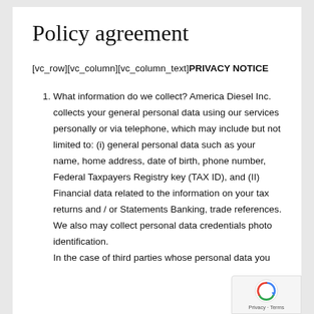Policy agreement
[vc_row][vc_column][vc_column_text]PRIVACY NOTICE
What information do we collect? America Diesel Inc. collects your general personal data using our services personally or via telephone, which may include but not limited to: (i) general personal data such as your name, home address, date of birth, phone number, Federal Taxpayers Registry key (TAX ID), and (II) Financial data related to the information on your tax returns and / or Statements Banking, trade references. We also may collect personal data credentials photo identification. In the case of third parties whose personal data you